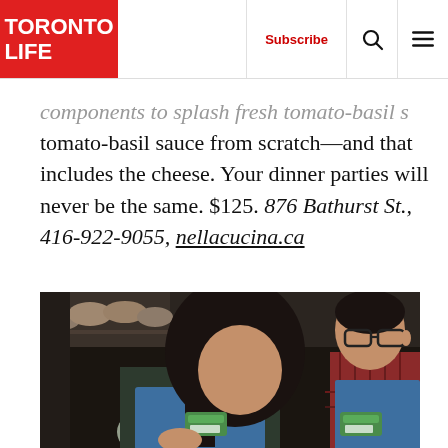TORONTO LIFE | Subscribe
components to splash fresh tomato-basil sauce from scratch—and that includes the cheese. Your dinner parties will never be the same. $125. 876 Bathurst St., 416-922-9055, nellacucina.ca
[Figure (photo): Two people wearing blue aprons with name tags working in a culinary setting. A woman with long dark hair looks down at something she is holding, and a man with glasses stands behind her. Shelves with bowls are visible in the background.]